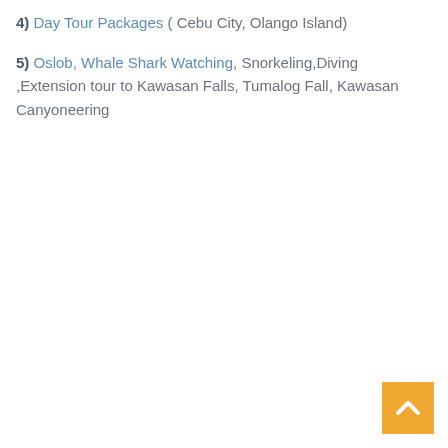4) Day Tour Packages  ( Cebu City, Olango Island)
5) Oslob, Whale Shark Watching, Snorkeling,Diving ,Extension tour to Kawasan Falls, Tumalog Fall, Kawasan Canyoneering